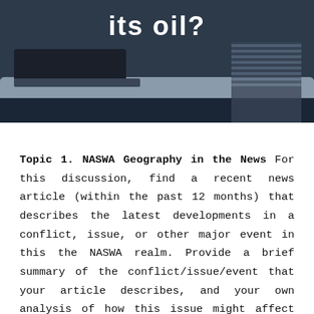[Figure (photo): Dark background photo banner showing a table surface and a person in a striped shirt, with bold white text reading 'its oil?' partially visible at the top]
Topic 1. NASWA Geography in the News For this discussion, find a recent news article (within the past 12 months) that describes the latest developments in a conflict, issue, or other major event in this the NASWA realm. Provide a brief summary of the conflict/issue/event that your article describes, and your own analysis of how this issue might affect the realm, and might be resolved. Be sure that the topic